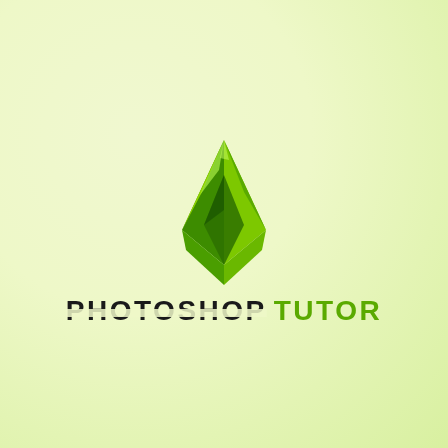[Figure (logo): 3D green pyramid/diamond logo mark with facets showing light green, medium green, and dark green shading, with a triangular cutout or inset on the front face]
PHOTOSHOP TUTOR